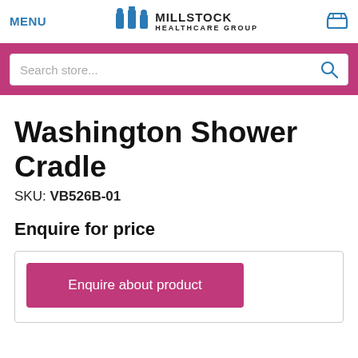MENU | Millstock Healthcare Group
Search store...
Washington Shower Cradle
SKU: VB526B-01
Enquire for price
Enquire about product